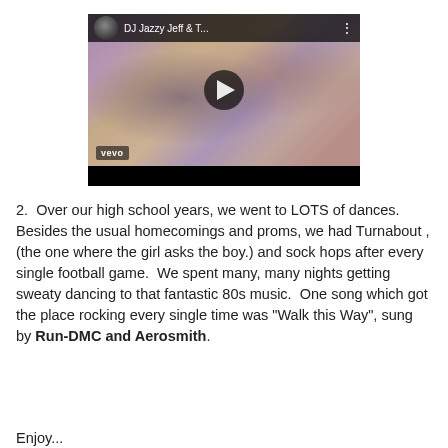[Figure (screenshot): YouTube/Vevo embedded video player showing a music video thumbnail with a play button. Channel name reads 'DJ Jazzy Jeff & T...' with a channel avatar and three-dot menu. Vevo logo in lower left of video frame.]
2.  Over our high school years, we went to LOTS of dances. Besides the usual homecomings and proms, we had Turnabout ,(the one where the girl asks the boy.) and sock hops after every single football game.  We spent many, many nights getting sweaty dancing to that fantastic 80s music.  One song which got the place rocking every single time was "Walk this Way", sung by Run-DMC and Aerosmith.
Enjoy...